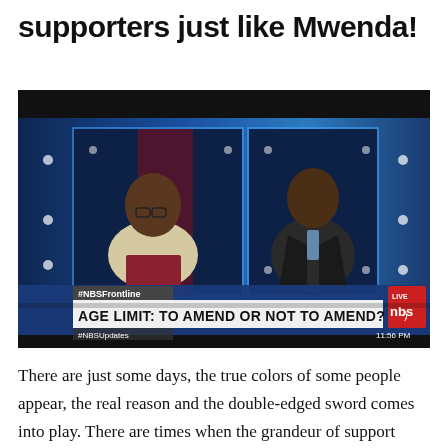supporters just like Mwenda!
[Figure (screenshot): TV screenshot of NBS Frontline show with two men in a studio. Lower-third graphic reads 'AGE LIMIT: TO AMEND OR NOT TO AMEND?' with #NBSFrontline and #NBSUpdates hashtags and timestamp 11:56 PM. NBS logo visible top-right with LIVE bug.]
There are just some days, the true colors of some people appear, the real reason and the double-edged sword comes into play. There are times when the grandeur of support